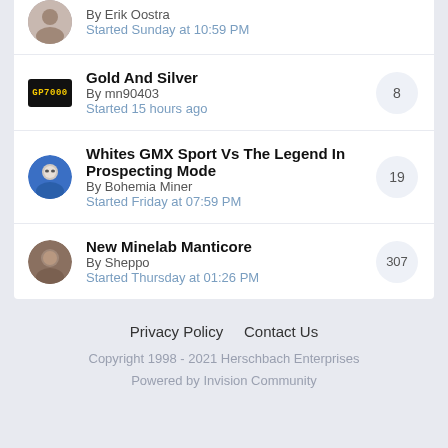By Erik Oostra
Started Sunday at 10:59 PM
Gold And Silver
By mn90403
Started 15 hours ago
Whites GMX Sport Vs The Legend In Prospecting Mode
By Bohemia Miner
Started Friday at 07:59 PM
New Minelab Manticore
By Sheppo
Started Thursday at 01:26 PM
Privacy Policy   Contact Us
Copyright 1998 - 2021 Herschbach Enterprises
Powered by Invision Community